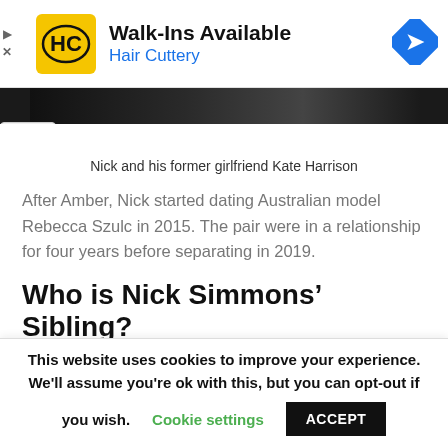[Figure (other): Hair Cuttery advertisement banner with logo, 'Walk-Ins Available' text, 'Hair Cuttery' subtitle in blue, and a navigation arrow icon]
[Figure (photo): Partial photo of Nick and his former girlfriend Kate Harrison, dark/black image strip visible at top]
Nick and his former girlfriend Kate Harrison
After Amber, Nick started dating Australian model Rebecca Szulc in 2015. The pair were in a relationship for four years before separating in 2019.
Who is Nick Simmons' Sibling?
The Pitzer College graduate Nick has a younger
This website uses cookies to improve your experience. We'll assume you're ok with this, but you can opt-out if you wish. Cookie settings ACCEPT